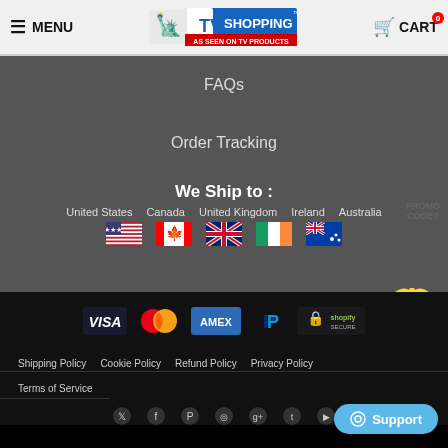MENU | TV SHOPPING America AS SEEN ON TV PRODUCTS | CART 0
FAQs
Order Tracking
We Ship to :
United States  Canada  United Kingdom  Ireland  Australia
[Figure (infographic): Flags: United States, Canada, United Kingdom, Ireland, Australia]
[Figure (infographic): PROMO CODE? gift box popup overlay]
[Figure (infographic): Payment icons: VISA, Mastercard, AMEX, PayPal, Shopify Secure]
Shipping Policy  Cookie Policy  Refund Policy  Privacy Policy
Terms of Service
[Figure (infographic): Social media icons: Twitter, Facebook, Pinterest, Instagram, Google+, Tumblr, YouTube]
Support